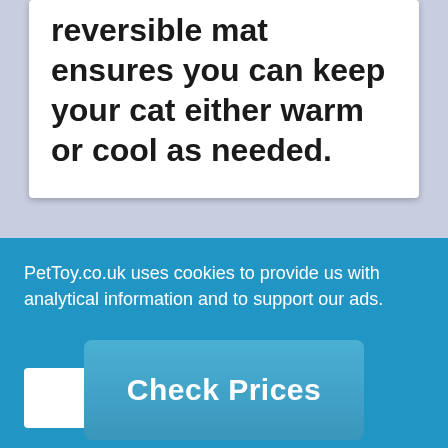taking your cat on longer trips, the reversible mat ensures you can keep your cat either warm or cool as needed.
Check Prices
PetToy.co.uk uses cookies to provide us with analytical information and to support our ads.
Accept